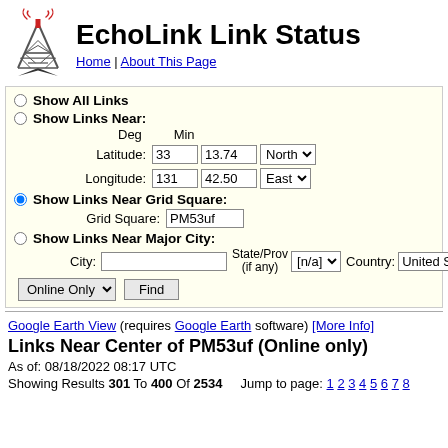EchoLink Link Status
Home | About This Page
Show All Links
Show Links Near:
Deg Min
Latitude: 33 13.74 North
Longitude: 131 42.50 East
Show Links Near Grid Square:
Grid Square: PM53uf
Show Links Near Major City:
City: State/Prov (if any) [n/a] Country: United S
Online Only Find
Google Earth View (requires Google Earth software) [More Info]
Links Near Center of PM53uf (Online only)
As of: 08/18/2022 08:17 UTC
Showing Results 301 To 400 Of 2534   Jump to page: 1 2 3 4 5 6 7 8